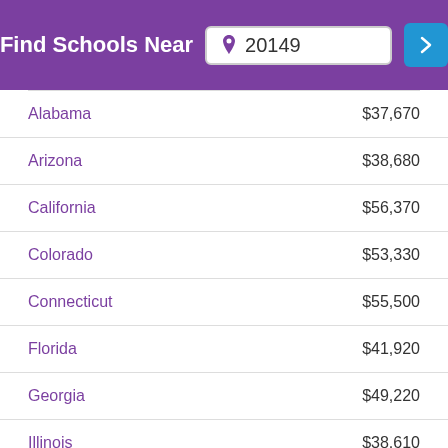Find Schools Near 20149
| State | Salary |
| --- | --- |
| Alabama | $37,670 |
| Arizona | $38,680 |
| California | $56,370 |
| Colorado | $53,330 |
| Connecticut | $55,500 |
| Florida | $41,920 |
| Georgia | $49,220 |
| Illinois | $38,610 |